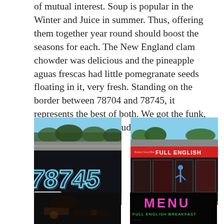of mutual interest. Soup is popular in the Winter and Juice in summer. Thus, offering them together year round should boost the seasons for each. The New England clam chowder was delicious and the pineapple aguas frescas had little pomegranate seeds floating in it, very fresh. Standing on the border between 78704 and 78745, it represents the best of both. We got the funk, say it loud, keep it proud.
[Figure (photo): Exterior of a building with a large graffiti mural reading '78745' in stylized letters, with cars parked in front]
Deep in the heart
[Figure (photo): Storefront of Full English Breakfast restaurant with red signage and glass windows]
Full English Breakfast
[Figure (photo): Dark interior photo]
[Figure (photo): Menu board showing 'MENU' in pink neon letters and 'FULL ENGLISH BREAKFAST' in green text]